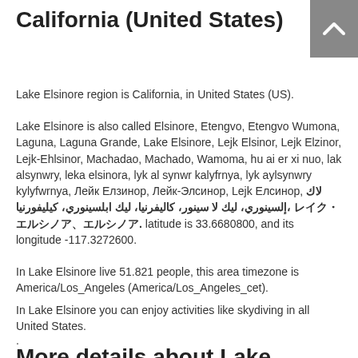California (United States)
Lake Elsinore region is California, in United States (US).
Lake Elsinore is also called Elsinore, Etengvo, Etengvo Wumona, Laguna, Laguna Grande, Lake Elsinore, Lejk Elsinor, Lejk Elzinor, Lejk-Ehlsinor, Machadao, Machado, Wamoma, hu ai er xi nuo, lak alsynwry, leka elsinora, lyk al synwr kalyfrnya, lyk aylsynwry kylyfwrnya, Лейк Елзинор, Лейк-Элсинор, Lejk Елсинор, لاك إلسينوري، ليك لا سينور، كاليفرنيا، ليك ابلسينوري، كيليفورنيا، レイク・エルシノア、エルシノア. latitude is 33.6680800, and its longitude -117.3272600.
In Lake Elsinore live 51.821 people, this area timezone is America/Los_Angeles (America/Los_Angeles_cet).
In Lake Elsinore you can enjoy activities like skydiving in all United States.
.
More details about Lake